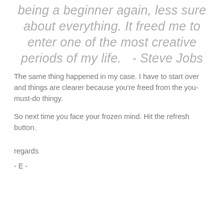being a beginner again, less sure about everything. It freed me to enter one of the most creative periods of my life.    - Steve Jobs
The same thing happened in my case. I have to start over and things are clearer because you're freed from the you-must-do thingy.
So next time you face your frozen mind. Hit the refresh button.
regards
- E -